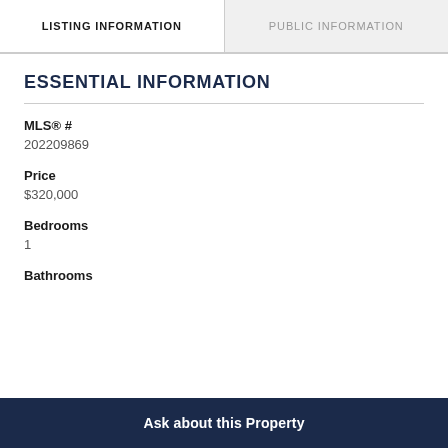LISTING INFORMATION | PUBLIC INFORMATION
ESSENTIAL INFORMATION
MLS® #
202209869
Price
$320,000
Bedrooms
1
Bathrooms
Ask about this Property